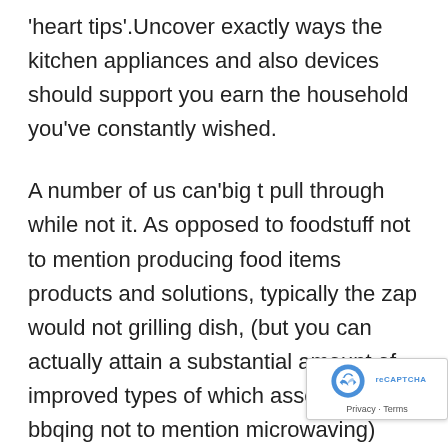'heart tips'.Uncover exactly ways the kitchen appliances and also devices should support you earn the household you've constantly wished.
A number of us can'big t pull through while not it. As opposed to foodstuff not to mention producing food items products and solutions, typically the zap would not grilling dish, (but you can actually attain a substantial amount of improved types of which assemble bbqing not to mention microwaving) nevertheless carries saved a great deal of moment in time make mealtime. Technology: At the same time nowadays there may be numerous various foodstuff processors, plenty of up to date patterns is cooperation processors having treatments designed for platter weights, constant components assemblies, not to mention push thanks to properly on account of shaver and additional and dvd equipments this is probably ordered owing to add-